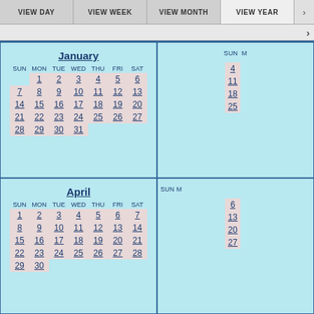VIEW DAY | VIEW WEEK | VIEW MONTH | VIEW YEAR
[Figure (other): Year view calendar showing January and April months with navigation tabs VIEW DAY, VIEW WEEK, VIEW MONTH, VIEW YEAR at top]
January - Sun Mon Tue Wed Thu Fri Sat - 1 2 3 4 5 6 - 7 8 9 10 11 12 13 - 14 15 16 17 18 19 20 - 21 22 23 24 25 26 27 - 28 29 30 31
April - Sun Mon Tue Wed Thu Fri Sat - 1 2 3 4 5 6 7 - 8 9 10 11 12 13 14 - 15 16 17 18 19 20 21 - 22 23 24 25 26 27 28 - 29 30